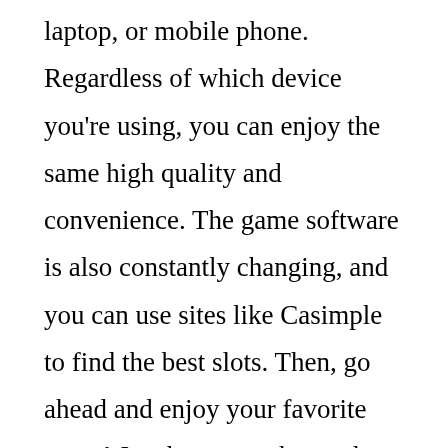laptop, or mobile phone. Regardless of which device you're using, you can enjoy the same high quality and convenience. The game software is also constantly changing, and you can use sites like Casimple to find the best slots. Then, go ahead and enjoy your favorite game! Just be sure to know that the games you choose to play are licensed by the right jurisdictions and are 100% safe to play.
The most important thing to remember when playing online slots is to be realistic. While